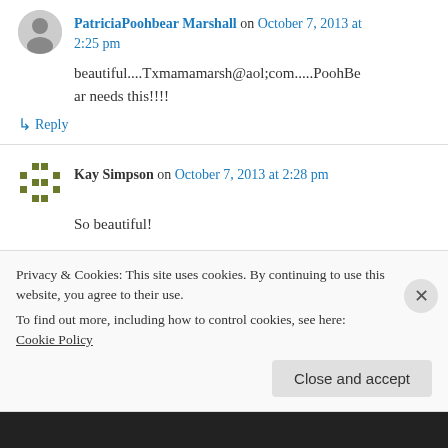PatriciaPoohbear Marshall on October 7, 2013 at 2:25 pm
beautiful....Txmamamarsh@aol;com.....PoohBear needs this!!!!
↳ Reply
Kay Simpson on October 7, 2013 at 2:28 pm
So beautiful!
Privacy & Cookies: This site uses cookies. By continuing to use this website, you agree to their use.
To find out more, including how to control cookies, see here: Cookie Policy
Close and accept